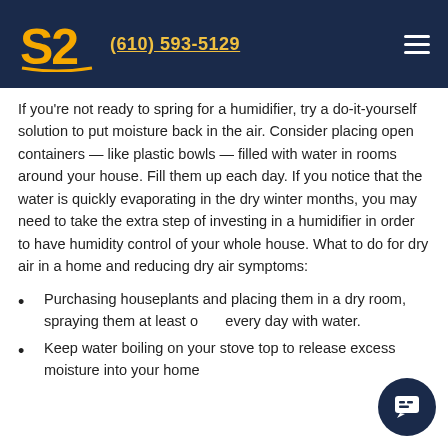S2 (610) 593-5129
If you're not ready to spring for a humidifier, try a do-it-yourself solution to put moisture back in the air. Consider placing open containers — like plastic bowls — filled with water in rooms around your house. Fill them up each day. If you notice that the water is quickly evaporating in the dry winter months, you may need to take the extra step of investing in a humidifier in order to have humidity control of your whole house. What to do for dry air in a home and reducing dry air symptoms:
Purchasing houseplants and placing them in a dry room, spraying them at least once every day with water.
Keep water boiling on your stove top to release excess moisture into your home